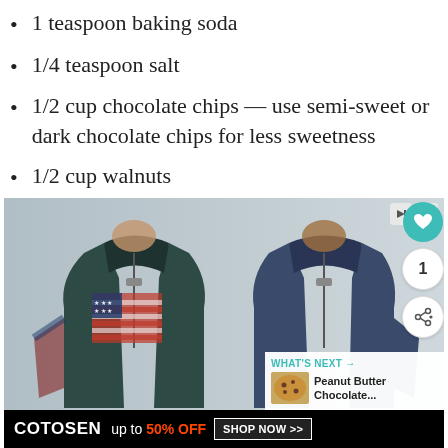1 teaspoon baking soda
1/4 teaspoon salt
1/2 cup chocolate chips — use semi-sweet or dark chocolate chips for less sweetness
1/2 cup walnuts
[Figure (photo): Advertisement showing two men wearing zip-up pullover jackets — one dark green with American flag graphic, one navy blue — from brand COTOSEN with '50% OFF' promotion and 'SHOP NOW' button]